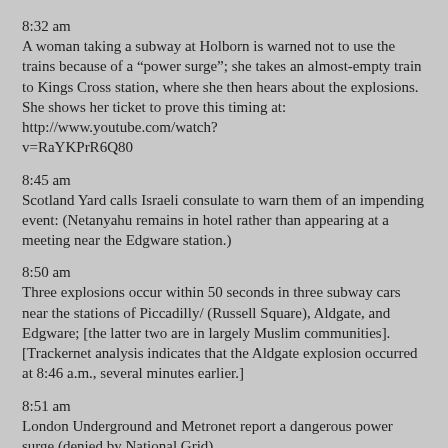8:32 am
A woman taking a subway at Holborn is warned not to use the trains because of a “power surge”; she takes an almost-empty train to Kings Cross station, where she then hears about the explosions. She shows her ticket to prove this timing at: http://www.youtube.com/watch?v=RaYKPrR6Q80
8:45 am
Scotland Yard calls Israeli consulate to warn them of an impending event: (Netanyahu remains in hotel rather than appearing at a meeting near the Edgware station.)
8:50 am
Three explosions occur within 50 seconds in three subway cars near the stations of Piccadilly/ (Russell Square), Aldgate, and Edgware; [the latter two are in largely Muslim communities]. [Trackernet analysis indicates that the Aldgate explosion occurred at 8:46 a.m., several minutes earlier.]
8:51 am
London Underground and Metronet report a dangerous power surge (denied by National Grid)
8:55 am